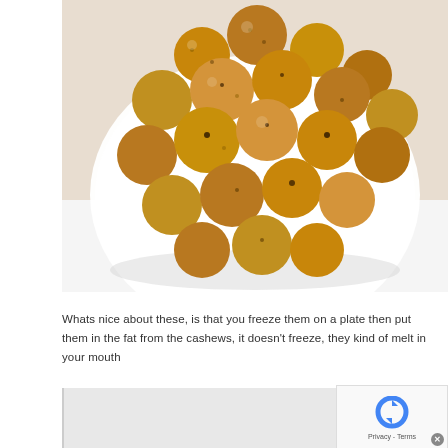[Figure (photo): A white plate filled with many small round energy/bliss balls coated in oats and with dark spots (raisins or chocolate chips), photographed from above on a white surface with a pink accent at the top.]
Whats nice about these, is that you freeze them on a plate then put them in the fat from the cashews, it doesn't freeze, they kind of melt in your mouth
[Figure (other): reCAPTCHA widget with blue circular arrows icon, Privacy - Terms text, and close X button]